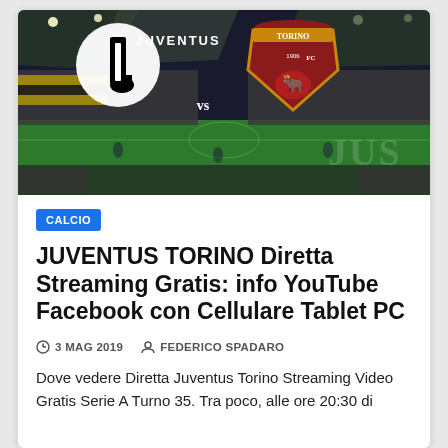[Figure (photo): Stadium background showing Juventus vs Torino FC match graphic with club logos overlaid on a football stadium crowd scene]
CALCIO
JUVENTUS TORINO Diretta Streaming Gratis: info YouTube Facebook con Cellulare Tablet PC
3 MAG 2019   FEDERICO SPADARO
Dove vedere Diretta Juventus Torino Streaming Video Gratis Serie A Turno 35. Tra poco, alle ore 20:30 di